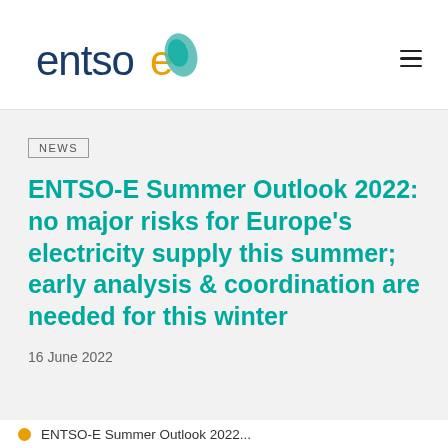[Figure (logo): ENTSO-E logo with blue text and yellow 'e' and teal oval shape]
NEWS
ENTSO-E Summer Outlook 2022: no major risks for Europe's electricity supply this summer; early analysis & coordination are needed for this winter
16 June 2022
ENTSO-E Summer Outlook 2022...